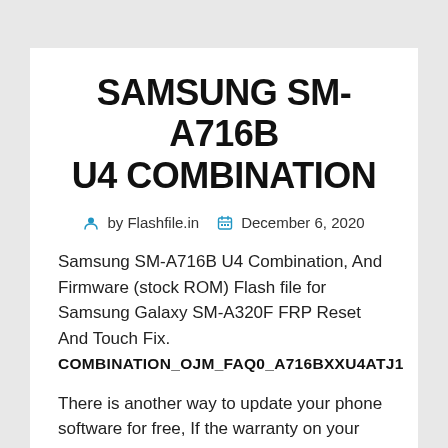SAMSUNG SM-A716B U4 COMBINATION
by Flashfile.in  December 6, 2020
Samsung SM-A716B U4 Combination, And Firmware (stock ROM) Flash file for Samsung Galaxy SM-A320F FRP Reset And Touch Fix. COMBINATION_OJM_FAQ0_A716BXXU4ATJ1
There is another way to update your phone software for free, If the warranty on your phone is still running, then take it to the service center. And